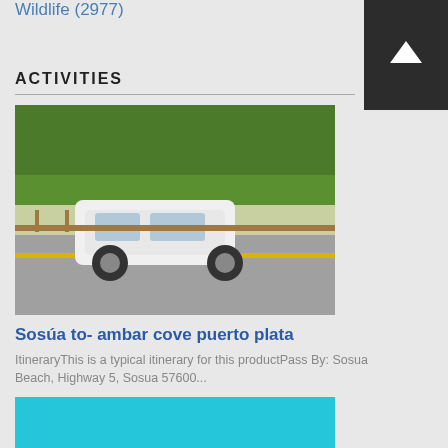Wildlife (2977)
ACTIVITIES
[Figure (photo): A white minivan driving on a road with green trees in the background]
Sosúa to- ambar cove puerto plata
ItineraryThis is a typical itinerary for this productPass By: Sosua Beach, Highway 5, Sosua 57600...
[Figure (photo): Underwater scene with green coral/sea plants in turquoise water]
Discover Sosua's Underwater World & Beach Day
ItineraryThis is a typical itinerary for this productStop At: Eric Tours International, beach way 18...